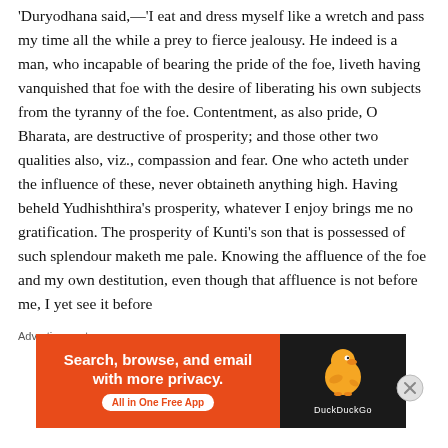'Duryodhana said,—'I eat and dress myself like a wretch and pass my time all the while a prey to fierce jealousy. He indeed is a man, who incapable of bearing the pride of the foe, liveth having vanquished that foe with the desire of liberating his own subjects from the tyranny of the foe. Contentment, as also pride, O Bharata, are destructive of prosperity; and those other two qualities also, viz., compassion and fear. One who acteth under the influence of these, never obtaineth anything high. Having beheld Yudhishthira's prosperity, whatever I enjoy brings me no gratification. The prosperity of Kunti's son that is possessed of such splendour maketh me pale. Knowing the affluence of the foe and my own destitution, even though that affluence is not before me, I yet see it before
Advertisements
[Figure (other): DuckDuckGo advertisement banner: orange left panel with text 'Search, browse, and email with more privacy. All in One Free App' and dark right panel with DuckDuckGo logo and name.]